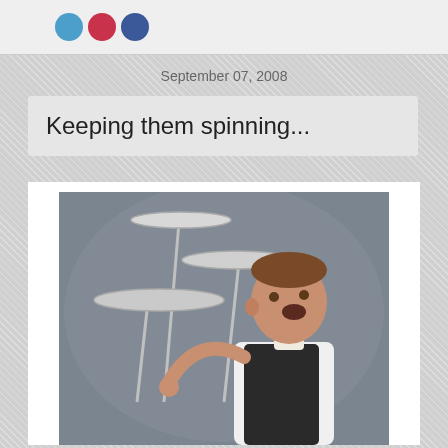[Figure (photo): Social media icons: Twitter (blue circle), Pinterest (red circle), Facebook (blue circle)]
September 07, 2008
Keeping them spinning...
[Figure (photo): A man in a white shirt and black vest spinning multiple plates on tall sticks, looking anxious, against a grey studio background.]